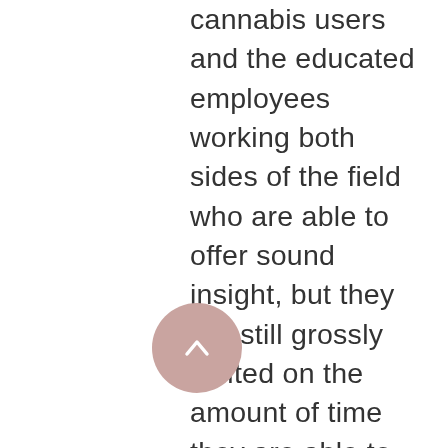cannabis users and the educated employees working both sides of the field who are able to offer sound insight, but they are still grossly limited on the amount of time they are able to spend with the consumer, limiting the efficacy (and safety) of their advice. It was in my time working for a medical dispensary (the variety that does, thankfully, educate their staff) that I observed this gap that required bridging between doctor and dispensary. 5-10 minutes is simply not enough time to educate an elderly skeptic on the safest handling of their new medication, and a bud tender simply cannot go home with you and show you what to do. That's where an educated and certified cannabis